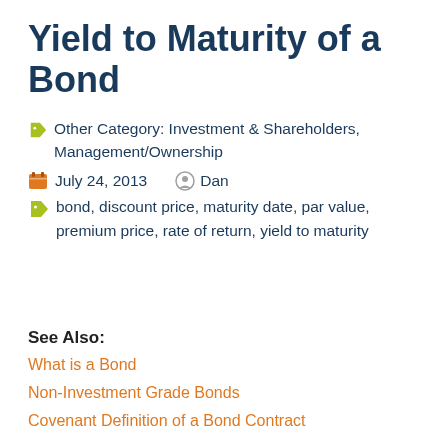Yield to Maturity of a Bond
Other Category: Investment & Shareholders, Management/Ownership
July 24, 2013   Dan
bond, discount price, maturity date, par value, premium price, rate of return, yield to maturity
See Also:
What is a Bond
Non-Investment Grade Bonds
Covenant Definition of a Bond Contract